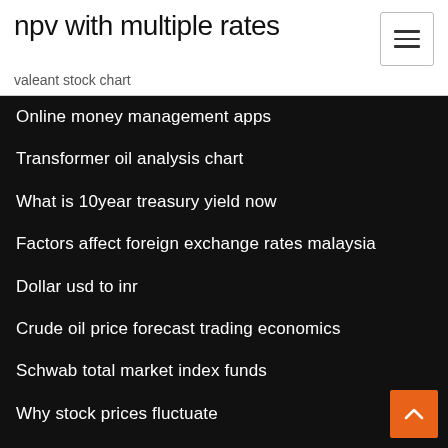npv with multiple rates
valeant stock chart
Online money management apps
Transformer oil analysis chart
What is 10year treasury yield now
Factors affect foreign exchange rates malaysia
Dollar usd to inr
Crude oil price forecast trading economics
Schwab total market index funds
Why stock prices fluctuate
Post office exchange rate us dollars to sterling
2749